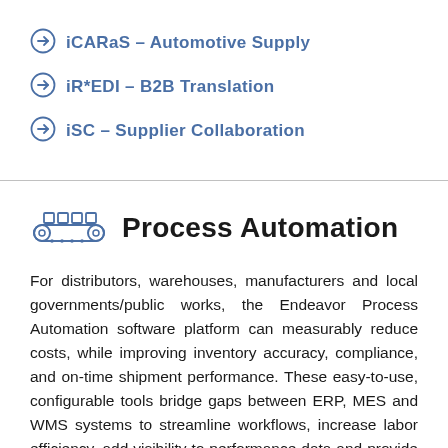iCARaS – Automotive Supply
iR*EDI – B2B Translation
iSC – Supplier Collaboration
Process Automation
For distributors, warehouses, manufacturers and local governments/public works, the Endeavor Process Automation software platform can measurably reduce costs, while improving inventory accuracy, compliance, and on-time shipment performance. These easy-to-use, configurable tools bridge gaps between ERP, MES and WMS systems to streamline workflows, increase labor efficiency, add visibility to performance data and provide actionable